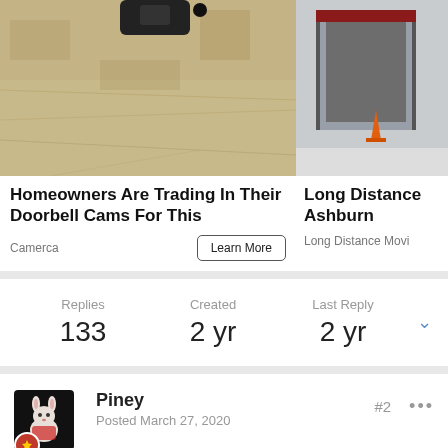[Figure (photo): Left ad: close-up photo of sand/cement surface with a small black device partially visible. Right ad: photo of moving truck with orange traffic cone.]
Homeowners Are Trading In Their Doorbell Cams For This
Camerca
Learn More
Long Distance Ashburn
Long Distance Movi
Replies
133
Created
2 yr
Last Reply
2 yr
Piney
Posted March 27, 2020
#2
···